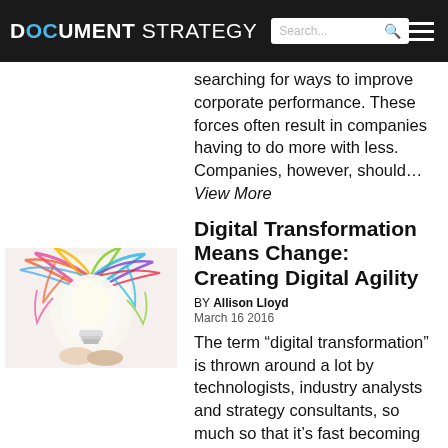DOCUMENT STRATEGY
searching for ways to improve corporate performance. These forces often result in companies having to do more with less. Companies, however, should… View More
[Figure (illustration): Colorful abstract illustration of a light bulb with colorful paint splashes forming a brain-like shape, held by hands]
Digital Transformation Means Change: Creating Digital Agility
BY Allison Lloyd
March 16 2016
The term "digital transformation" is thrown around a lot by technologists, industry analysts and strategy consultants, so much so that it's fast becoming ubiquitous. Yet, do we know much… View